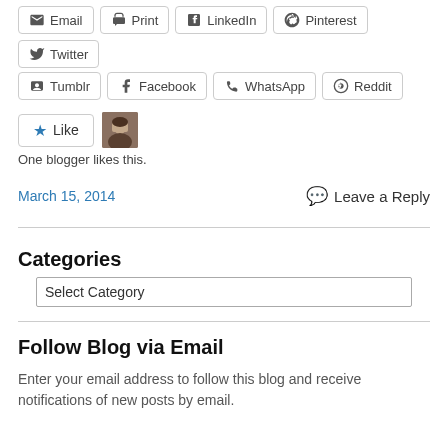Email | Print | LinkedIn | Pinterest | Twitter
Tumblr | Facebook | WhatsApp | Reddit
[Figure (other): Like button with star icon and avatar photo of a blogger]
One blogger likes this.
March 15, 2014
Leave a Reply
Categories
Select Category
Follow Blog via Email
Enter your email address to follow this blog and receive notifications of new posts by email.